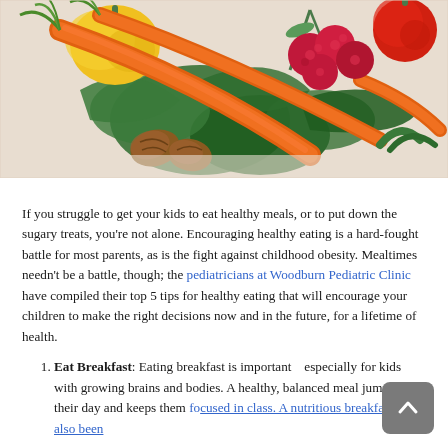[Figure (photo): Photo of various colorful fresh vegetables and fruits arranged on a white surface: carrots, raspberries, tomatoes, yellow bell pepper, spinach leaves, walnuts, and herbs.]
If you struggle to get your kids to eat healthy meals, or to put down the sugary treats, you're not alone. Encouraging healthy eating is a hard-fought battle for most parents, as is the fight against childhood obesity. Mealtimes needn't be a battle, though; the pediatricians at Woodburn Pediatric Clinic have compiled their top 5 tips for healthy eating that will encourage your children to make the right decisions now and in the future, for a lifetime of health.
Eat Breakfast: Eating breakfast is important especially for kids with growing brains and bodies. A healthy, balanced meal jump-starts their day and keeps them focused in class. A nutritious breakfast has also been...